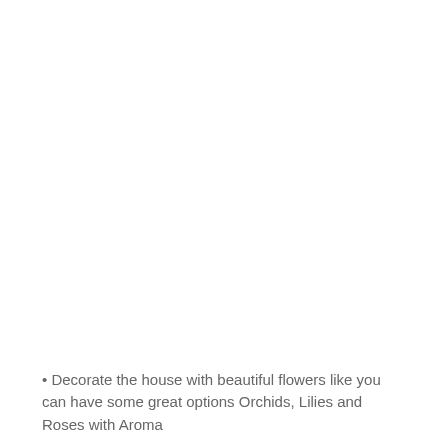• Decorate the house with beautiful flowers like you can have some great options Orchids, Lilies and Roses with Aroma